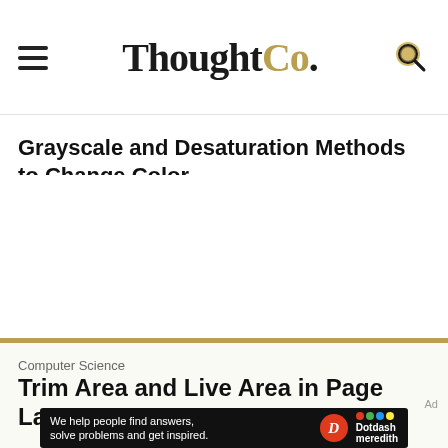ThoughtCo.
Grayscale and Desaturation Methods to Change Color
Computer Science
Trim Area and Live Area in Page Layout
[Figure (other): Dotdash Meredith advertisement banner: 'We help people find answers, solve problems and get inspired.']